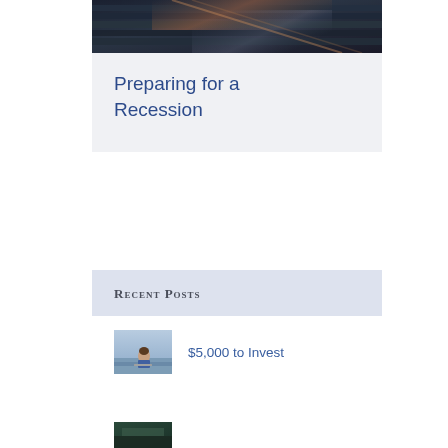[Figure (photo): Architectural photo showing abstract dark staircase or angled metallic surfaces with light reflections]
Preparing for a Recession
Recent Posts
[Figure (photo): Small thumbnail image of a person sitting outdoors, likely working on a laptop]
$5,000 to Invest
[Figure (photo): Small thumbnail image partially visible at bottom of page]